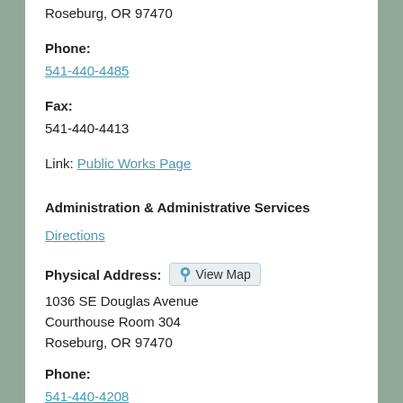Roseburg, OR 97470
Phone:
541-440-4485
Fax:
541-440-4413
Link: Public Works Page
Administration & Administrative Services
Directions
Physical Address: View Map
1036 SE Douglas Avenue
Courthouse Room 304
Roseburg, OR 97470
Phone:
541-440-4208
Fax:
541-440-4413